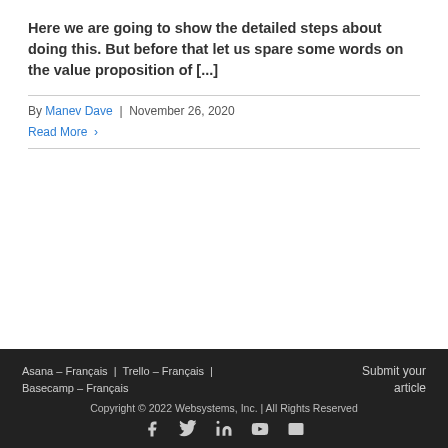Here we are going to show the detailed steps about doing this. But before that let us spare some words on the value proposition of [...]
By Manev Dave | November 26, 2020
Read More >
Asana – Français | Trello – Français | Basecamp – Français  Submit your article  Copyright © 2022 Websystems, Inc. | All Rights Reserved